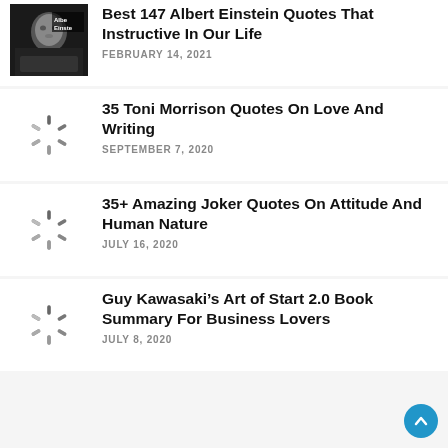[Figure (photo): Black and white photo of Albert Einstein with name label]
Best 147 Albert Einstein Quotes That Instructive In Our Life
FEBRUARY 14, 2021
[Figure (other): Loading spinner placeholder image]
35 Toni Morrison Quotes On Love And Writing
SEPTEMBER 7, 2020
[Figure (other): Loading spinner placeholder image]
35+ Amazing Joker Quotes On Attitude And Human Nature
JULY 16, 2020
[Figure (other): Loading spinner placeholder image]
Guy Kawasaki’s Art of Start 2.0 Book Summary For Business Lovers
JULY 8, 2020